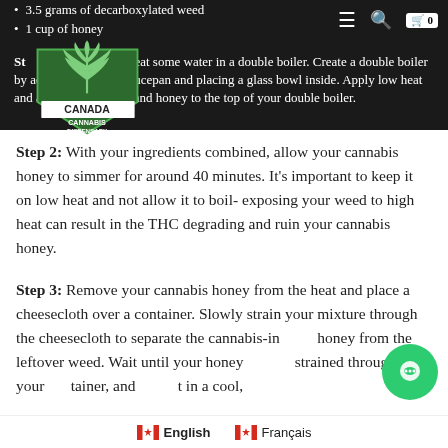3.5 grams of decarboxylated weed
1 cup of honey
Step 1: You'll need to heat some water in a double boiler. Create a double boiler by adding water to a saucepan and placing a glass bowl inside. Apply low heat and add your cannabis and honey to the top of your double boiler.
Step 2: With your ingredients combined, allow your cannabis honey to simmer for around 40 minutes. It's important to keep it on low heat and not allow it to boil- exposing your weed to high heat can result in the THC degrading and ruin your cannabis honey.
Step 3: Remove your cannabis honey from the heat and place a cheesecloth over a container. Slowly strain your mixture through the cheesecloth to separate the cannabis-infused honey from the leftover weed. Wait until your honey is fully strained through, seal your container, and store it in a cool,